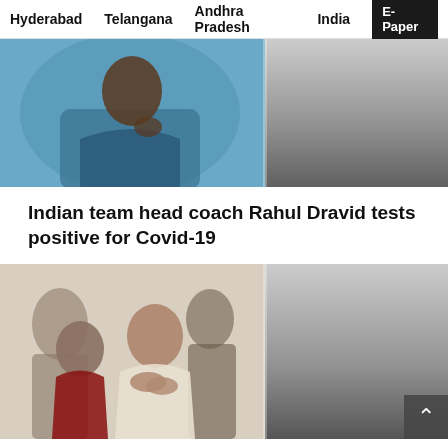Hyderabad   Telangana   Andhra Pradesh   India   E-Paper
[Figure (photo): Photo of Indian cricket team head coach Rahul Dravid, shown from shoulders up, wearing a blue outfit, with a blurred right side panel]
Indian team head coach Rahul Dravid tests positive for Covid-19
[Figure (photo): Photo of Rishi Sunak greeting people with folded hands (namaste gesture), surrounded by a group of people, with a scroll-to-top button overlay in the bottom right corner]
I want to change UK-India relationship to make it more two-way: Rishi Sunak